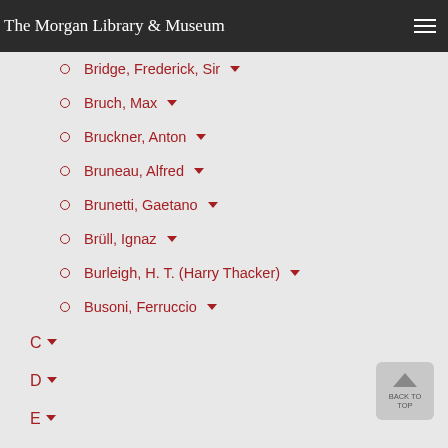The Morgan Library & Museum
Bridge, Frederick, Sir
Bruch, Max
Bruckner, Anton
Bruneau, Alfred
Brunetti, Gaetano
Brüll, Ignaz
Burleigh, H. T. (Harry Thacker)
Busoni, Ferruccio
C
D
E
F